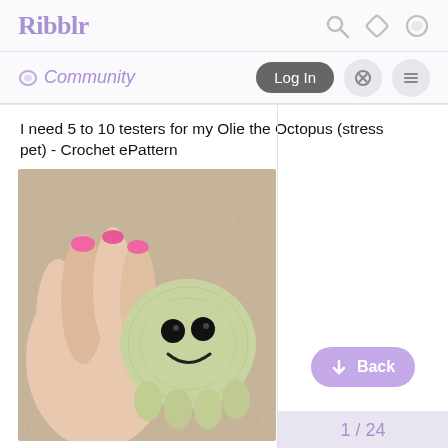Ribblr
Community
I need 5 to 10 testers for my Olie the Octopus (stress pet) - Crochet ePattern
[Figure (photo): A hand holding a small crocheted octopus amigurumi with a smiley face, made of light yellow-green yarn with black safety eyes, resting on a beige carpet background.]
↓ Back
1 / 24